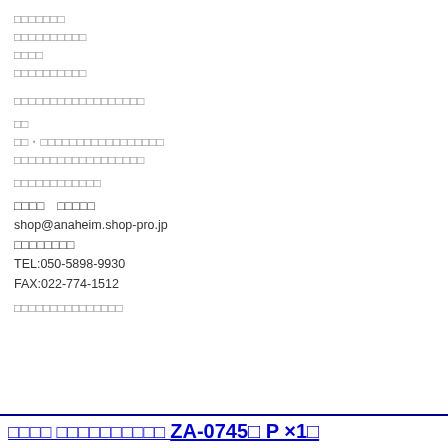□□□□□□□
□□□□□□□□□□
□□□□
□□□□□□□□□□
□□□□□□□□□□□□□□□□□□
□□
□□・□□□□□□□□□□□□□□□□□
□□□□□□□□□□□□□□□□□□
□□□□□□□□□□□□
□□□□　□□□□□
shop@anaheim.shop-pro.jp
□□□□□□□□
TEL:050-5898-9930
FAX:022-774-1512
□□□□□□□□□□□□□□□
□□□□ □□□□□□□□□□ ZA-0745□ P ×1□